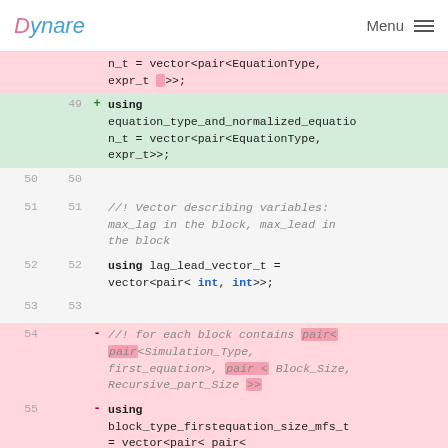Dynare | Menu
Code diff showing changes to equation type definitions and block type definitions in C++ header file
49 + using equation_type_and_normalized_equation_t = vector<pair<EquationType, expr_t>>;
50 50 (blank)
51 51 //! Vector describing variables: max_lag in the block, max_lead in the block
52 52 using lag_lead_vector_t = vector<pair< int, int>>;
53 53 (blank)
54 - //! for each block contains pair< pair<Simulation_Type, first_equation>, pair < Block_Size, Recursive_part_Size >>
55 - using block_type_firstequation_size_mfs_t = vector<pair< pair<